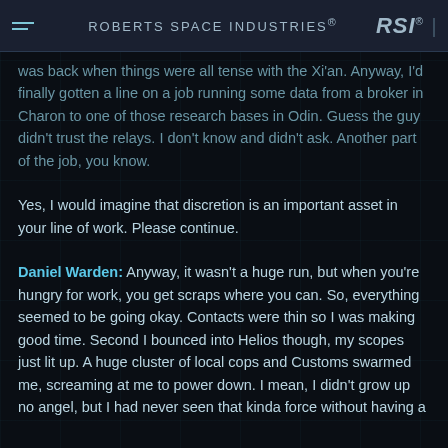ROBERTS SPACE INDUSTRIES® RSI®
was back when things were all tense with the Xi'an. Anyway, I'd finally gotten a line on a job running some data from a broker in Charon to one of those research bases in Odin. Guess the guy didn't trust the relays. I don't know and didn't ask. Another part of the job, you know.
Yes, I would imagine that discretion is an important asset in your line of work. Please continue.
Daniel Warden: Anyway, it wasn't a huge run, but when you're hungry for work, you get scraps where you can. So, everything seemed to be going okay. Contacts were thin so I was making good time. Second I bounced into Helios though, my scopes just lit up. A huge cluster of local cops and Customs swarmed me, screaming at me to power down. I mean, I didn't grow up no angel, but I had never seen that kinda force without having a